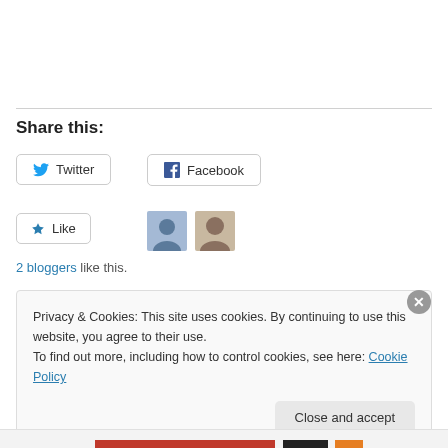Share this:
Twitter
Facebook
Like
2 bloggers like this.
Privacy & Cookies: This site uses cookies. By continuing to use this website, you agree to their use.
To find out more, including how to control cookies, see here: Cookie Policy
Close and accept